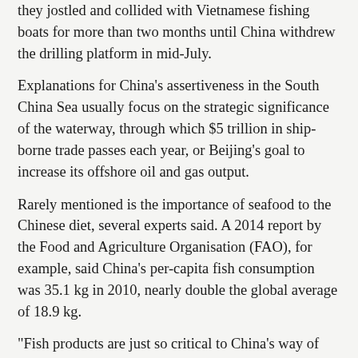they jostled and collided with Vietnamese fishing boats for more than two months until China withdrew the drilling platform in mid-July.
Explanations for China's assertiveness in the South China Sea usually focus on the strategic significance of the waterway, through which $5 trillion in ship-borne trade passes each year, or Beijing's goal to increase its offshore oil and gas output.
Rarely mentioned is the importance of seafood to the Chinese diet, several experts said. A 2014 report by the Food and Agriculture Organisation (FAO), for example, said China's per-capita fish consumption was 35.1 kg in 2010, nearly double the global average of 18.9 kg.
"Fish products are just so critical to China's way of life. I think this is something most people haven't factored into the equation when they've looked at these conflicts and disputes," said Alan Dupont, a professor of international security at the University of New South Wales in Australia.
"It's pretty clear that the Chinese fishing fleet is being